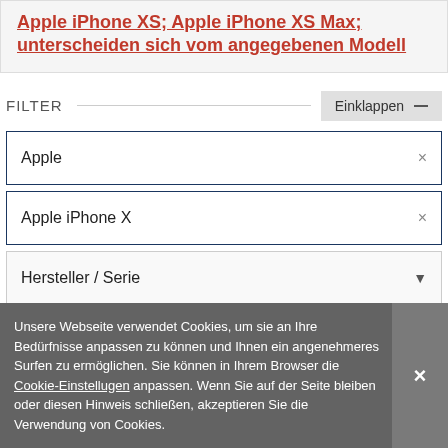Apple iPhone XS, Apple iPhone XS Max, unterscheiden sich vom angegebenen Modell
FILTER
Apple ×
Apple iPhone X ×
Hersteller / Serie ▼
Handyhüllen Art ▼
Unsere Webseite verwendet Cookies, um sie an Ihre Bedürfnisse anpassen zu können und Ihnen ein angenehmeres Surfen zu ermöglichen. Sie können in Ihrem Browser die Cookie-Einstellugen anpassen. Wenn Sie auf der Seite bleiben oder diesen Hinweis schließen, akzeptieren Sie die Verwendung von Cookies.